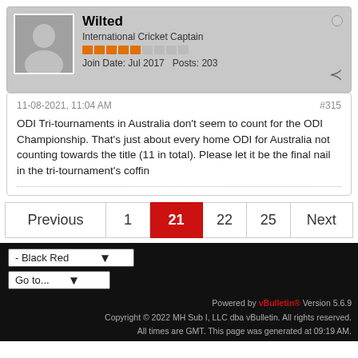Wilted
International Cricket Captain
Join Date: Jul 2017   Posts: 203
11-08-2021, 11:04 AM
#315
ODI Tri-tournaments in Australia don't seem to count for the ODI Championship. That's just about every home ODI for Australia not counting towards the title (11 in total). Please let it be the final nail in the tri-tournament's coffin
Previous | 1 | 21 | 22 | 25 | Next
- Black Red
Go to...
Powered by vBulletin® Version 5.6.9
Copyright © 2022 MH Sub I, LLC dba vBulletin. All rights reserved.
All times are GMT. This page was generated at 09:19 AM.